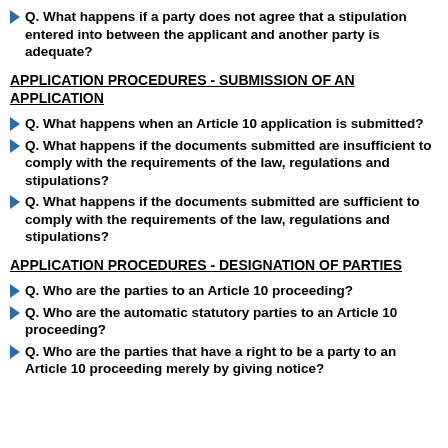Q. What happens if a party does not agree that a stipulation entered into between the applicant and another party is adequate?
APPLICATION PROCEDURES - SUBMISSION OF AN APPLICATION
Q. What happens when an Article 10 application is submitted?
Q. What happens if the documents submitted are insufficient to comply with the requirements of the law, regulations and stipulations?
Q. What happens if the documents submitted are sufficient to comply with the requirements of the law, regulations and stipulations?
APPLICATION PROCEDURES - DESIGNATION OF PARTIES
Q. Who are the parties to an Article 10 proceeding?
Q. Who are the automatic statutory parties to an Article 10 proceeding?
Q. Who are the parties that have a right to be a party to an Article 10 proceeding merely by giving notice?